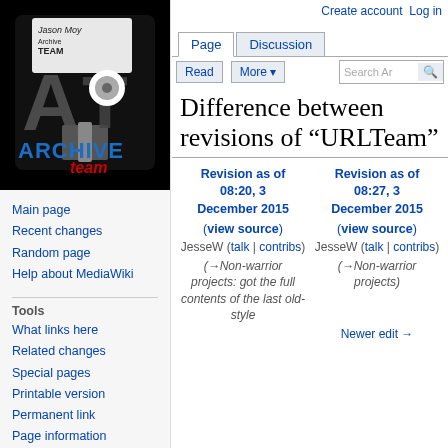Create account  Log in
[Figure (logo): Archive Team logo: floppy disk with 'AT' letters and 'ARCHIVE team' text in blue and red on black background]
Main page
Recent changes
Random page
Help about MediaWiki
Tools
What links here
Related changes
Special pages
Printable version
Permanent link
Page information
Difference between revisions of "URLTeam"
| Revision as of 08:20, 3 December 2015 | Revision as of 08:27, 3 December 2015 |
| --- | --- |
| (view source) | (view source) |
| JesseW (talk | contribs) | JesseW (talk | contribs) |
| (→Non-warrior projects: got the full contents of the last old-style | (→Non-warrior projects) |
|  | Newer edit → |